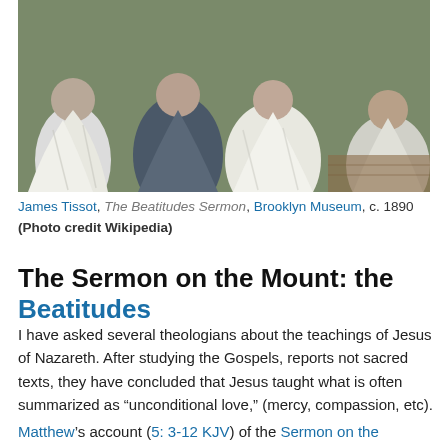[Figure (photo): Painting showing robed figures seated together, likely depicting the Sermon on the Mount scene. Figures in white and dark robes, painted in a realistic 19th century style.]
James Tissot, The Beatitudes Sermon, Brooklyn Museum, c. 1890 (Photo credit Wikipedia)
The Sermon on the Mount: the Beatitudes
I have asked several theologians about the teachings of Jesus of Nazareth. After studying the Gospels, reports not sacred texts, they have concluded that Jesus taught what is often summarized as “unconditional love,” (mercy, compassion, etc).
Matthew's account (5: 3-12 KJV) of the Sermon on the